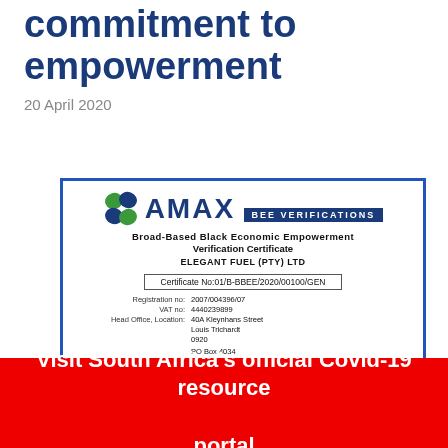commitment to empowerment
20 April 2020
[Figure (other): AMAX BEE Verifications - Broad-Based Black Economic Empowerment Verification Certificate for ELEGANT FUEL (PTY) LTD. Certificate No:01/B-BBEE/2020/00100/GEN. Registration no: 2007/004396/07. VAT no: 4440239899. Head Office, Location: 40A Kleynhans Street, Louis Trichardt, 0920. PO Box 4034, Louis Trichardt.]
Visit South Africa's official Covid-19 resource portal